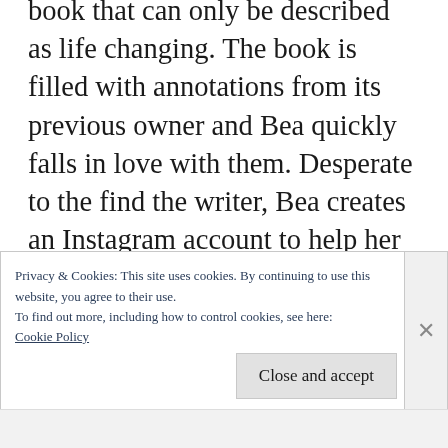book that can only be described as life changing. The book is filled with annotations from its previous owner and Bea quickly falls in love with them. Desperate to the find the writer, Bea creates an Instagram account to help her find them. But the quest is short-lived and Mystery Writer pops into her life as if it were fate. His name is Zach and he works as an editor for a local publishing house. Bea is a goner – how could such a perfect man exist? And better yet, find her? It's almost too good
Privacy & Cookies: This site uses cookies. By continuing to use this website, you agree to their use.
To find out more, including how to control cookies, see here:
Cookie Policy
Close and accept